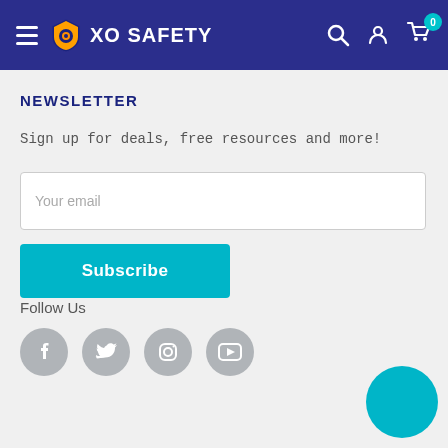XO SAFETY
NEWSLETTER
Sign up for deals, free resources and more!
Your email
Subscribe
Follow Us